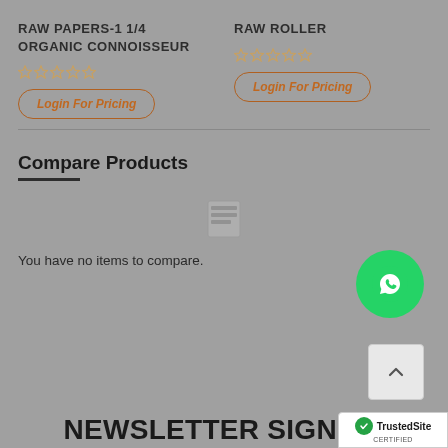RAW PAPERS-11/4 ORGANIC CONNOISSEUR
RAW ROLLER
Login For Pricing
Login For Pricing
Compare Products
You have no items to compare.
NEWSLETTER SIGN UP